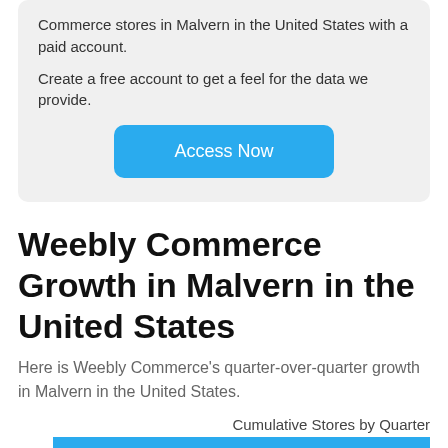Commerce stores in Malvern in the United States with a paid account.
Create a free account to get a feel for the data we provide.
Access Now
Weebly Commerce Growth in Malvern in the United States
Here is Weebly Commerce's quarter-over-quarter growth in Malvern in the United States.
Cumulative Stores by Quarter
[Figure (bar-chart): Bar chart showing cumulative Weebly Commerce stores by quarter in Malvern, United States. A blue bar is visible starting at 2.0 on the y-axis.]